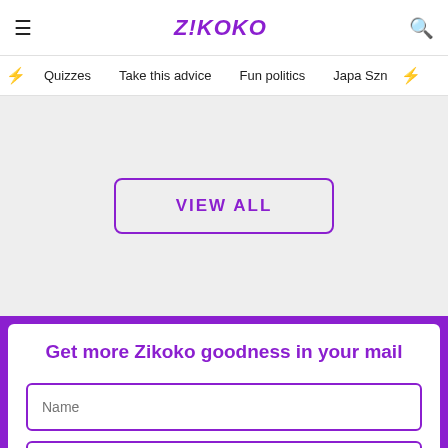ZIKOKO
Quizzes
Take this advice
Fun politics
Japa Szn
VIEW ALL
Get more Zikoko goodness in your mail
Name
Your Email